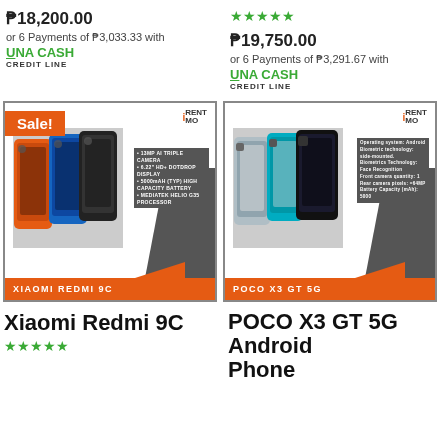₱18,200.00
or 6 Payments of ₱3,033.33 with
UNA CASH
CREDIT LINE
[Figure (other): 5 star rating icons in teal/green]
₱19,750.00
or 6 Payments of ₱3,291.67 with
UNA CASH
CREDIT LINE
[Figure (photo): Xiaomi Redmi 9C product card with orange branding, Sale! badge, iRent Mo logo, phone images and specs]
[Figure (photo): POCO X3 GT 5G product card with orange branding, iRent Mo logo, phone images and specs]
Xiaomi Redmi 9C
[Figure (other): 5 star rating icons in teal/green]
POCO X3 GT 5G Android Phone